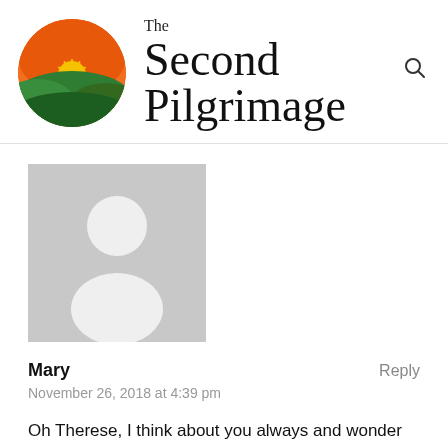[Figure (logo): The Second Pilgrimage website logo: circular logo with a sunset landscape showing orange sky, green rolling hills, and a yellow sun with rays, next to the text 'The Second Pilgrimage']
The Second Pilgrimage
[Figure (illustration): Default grey avatar placeholder image showing a silhouette of a person (head and shoulders)]
Mary
Reply
November 26, 2018 at 4:39 pm
Oh Therese, I think about you always and wonder because you have been silent. YOU are an inspiration